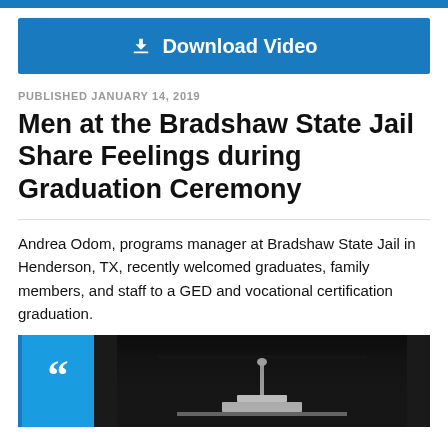[Figure (other): Blue top bar decorative element]
[Figure (other): Download Video button with download icon]
PUBLISHED JANUARY 14, 2019
Men at the Bradshaw State Jail Share Feelings during Graduation Ceremony
Andrea Odom, programs manager at Bradshaw State Jail in Henderson, TX, recently welcomed graduates, family members, and staff to a GED and vocational certification graduation.
[Figure (photo): Quote box with large quotation marks on blue background, alongside a dark photo of a podium/lectern at a graduation ceremony]